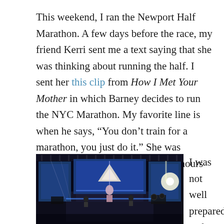This weekend, I ran the Newport Half Marathon. A few days before the race, my friend Kerri sent me a text saying that she was thinking about running the half. I sent her this clip from How I Met Your Mother in which Barney decides to run the NYC Marathon. My favorite line is when he says, “You don’t train for a marathon, you just do it.” She was convinced and decided to register hours before the deadline.
[Figure (photo): Concert stage photograph showing performers on a lit stage with blue lighting, screens in the background, and stage equipment visible.]
I was not well prepared and dropped the ball on a few last-minute needs, such as